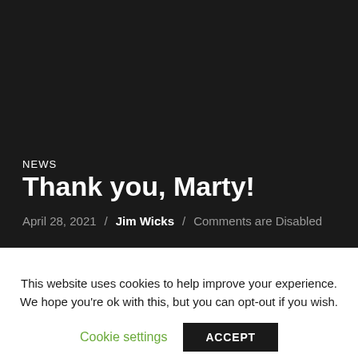NEWS
Thank you, Marty!
April 28, 2021 / Jim Wicks / Comments are Disabled
This website uses cookies to help improve your experience. We hope you're ok with this, but you can opt-out if you wish.
Cookie settings  ACCEPT